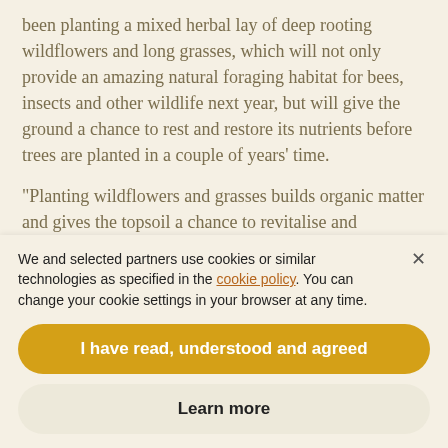been planting a mixed herbal lay of deep rooting wildflowers and long grasses, which will not only provide an amazing natural foraging habitat for bees, insects and other wildlife next year, but will give the ground a chance to rest and restore its nutrients before trees are planted in a couple of years' time.
“Planting wildflowers and grasses builds organic matter and gives the topsoil a chance to revitalise and regenerate,” explains Chris Muntz-Torres, Thatchers Farm Manager. “Not only that, the planting will create a
We and selected partners use cookies or similar technologies as specified in the cookie policy. You can change your cookie settings in your browser at any time.
I have read, understood and agreed
Learn more